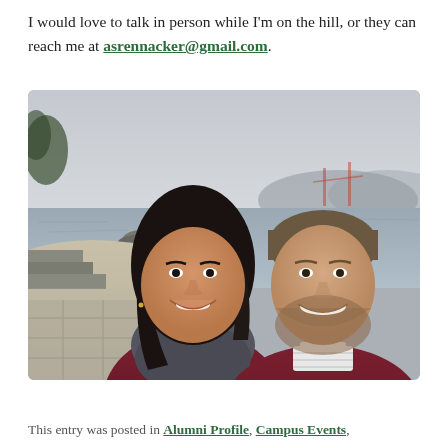I would love to talk in person while I'm on the hill, or they can reach me at asrennacker@gmail.com.
[Figure (photo): Selfie photo of a couple (man and woman) smiling in front of a waterfront scene, with the Golden Gate Bridge visible in the misty background. The woman has dark hair and wears a burgundy jacket and grey scarf; the man has a beard and wears a striped shirt under a maroon hoodie.]
This entry was posted in Alumni Profile, Campus Events,